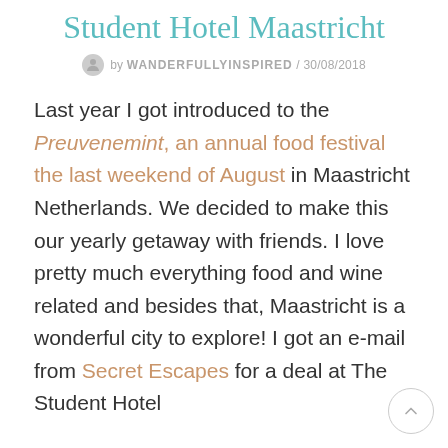Student Hotel Maastricht
by WANDERFULLYINSPIRED / 30/08/2018
Last year I got introduced to the Preuvenemint, an annual food festival the last weekend of August in Maastricht Netherlands. We decided to make this our yearly getaway with friends. I love pretty much everything food and wine related and besides that, Maastricht is a wonderful city to explore! I got an e-mail from Secret Escapes for a deal at The Student Hotel